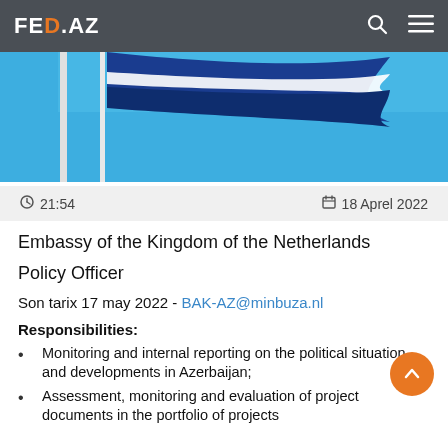FED.AZ
[Figure (photo): Blue and white flag waving against a bright blue sky, partially visible on flagpole]
21:54   18 Aprel 2022
Embassy of the Kingdom of the Netherlands
Policy Officer
Son tarix 17 may 2022 - BAK-AZ@minbuza.nl
Responsibilities:
Monitoring and internal reporting on the political situation and developments in Azerbaijan;
Assessment, monitoring and evaluation of project documents in the portfolio of projects